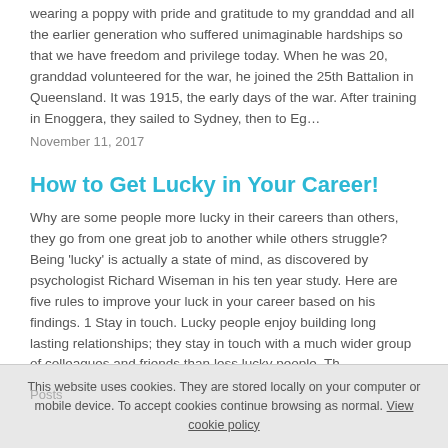wearing a poppy with pride and gratitude to my granddad and all the earlier generation who suffered unimaginable hardships so that we have freedom and privilege today. When he was 20, granddad volunteered for the war, he joined the 25th Battalion in Queensland. It was 1915, the early days of the war. After training in Enoggera, they sailed to Sydney, then to Eg…
November 11, 2017
How to Get Lucky in Your Career!
Why are some people more lucky in their careers than others, they go from one great job to another while others struggle? Being 'lucky' is actually a state of mind, as discovered by psychologist Richard Wiseman in his ten year study. Here are five rules to improve your luck in your career based on his findings. 1 Stay in touch. Lucky people enjoy building long lasting relationships; they stay in touch with a much wider group of colleagues and friends than less lucky people. Th…
July 26, 2017
This website uses cookies. They are stored locally on your computer or mobile device. To accept cookies continue browsing as normal. View cookie policy